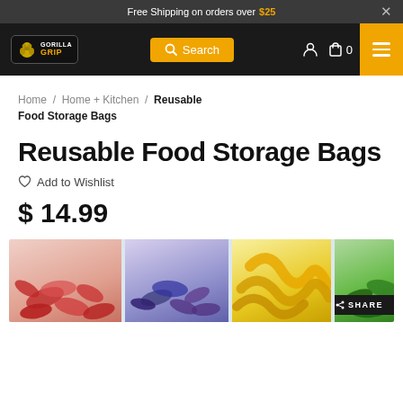Free Shipping on orders over $25
[Figure (screenshot): Gorilla Grip navigation bar with logo, search box, user icon, cart (0), and hamburger menu on gold background]
Home / Home + Kitchen / Reusable Food Storage Bags
Reusable Food Storage Bags
♡ Add to Wishlist
$ 14.99
[Figure (photo): Product image strip showing reusable food storage bags filled with colorful candy worms: red, purple, yellow, and green varieties. ZOOM and SHARE buttons overlay the bottom right.]